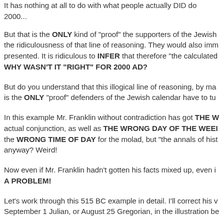It has nothing at all to do with what people actually DID do 2000...
But that is the ONLY kind of "proof" the supporters of the Jewish... the ridiculousness of that line of reasoning. They would also imm... presented. It is ridiculous to INFER that therefore "the calculated... WHY WASN'T IT "RIGHT" FOR 2000 AD?
But do you understand that this illogical line of reasoning, by ma... is the ONLY "proof" defenders of the Jewish calendar have to tu...
In this example Mr. Franklin without contradiction has got THE W... actual conjunction, as well as THE WRONG DAY OF THE WEEI... the WRONG TIME OF DAY for the molad, but "the annals of hist... anyway? Weird!
Now even if Mr. Franklin hadn't gotten his facts mixed up, even i... A PROBLEM!
Let's work through this 515 BC example in detail. I'll correct his v... September 1 Julian, or August 25 Gregorian, in the illustration be...
This is a very elementary comparison. Here goes:
IN 515 BC the Jewish calendar (theoretically!) calculates the mo... Thursday, August 25th as Tishri 1 (Gregorian calendar, remembe...
THE YEAR 2003 AD (i.e. this present year) has the following ast... the Jerusalem time zone: Wednesday, August 27 at 7:27 p.m., a...